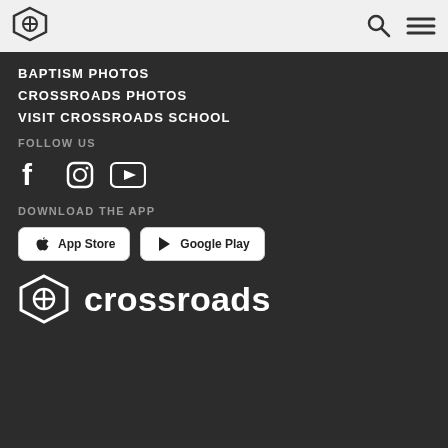[Figure (logo): Crossroads church logo icon in header]
[Figure (logo): Search icon and hamburger menu icon in header]
BAPTISM PHOTOS
CROSSROADS PHOTOS
VISIT CROSSROADS SCHOOL
FOLLOW US
[Figure (infographic): Facebook, Instagram, and YouTube social media icons]
DOWNLOAD THE APP
[Figure (screenshot): App Store and Google Play download buttons]
[Figure (logo): Crossroads church logo with icon and wordmark at bottom]